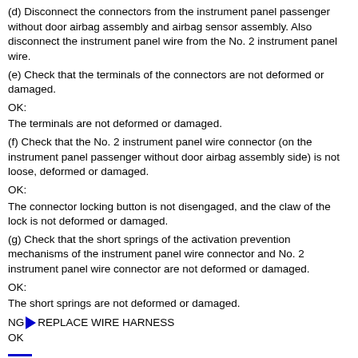(d) Disconnect the connectors from the instrument panel passenger without door airbag assembly and airbag sensor assembly. Also disconnect the instrument panel wire from the No. 2 instrument panel wire.
(e) Check that the terminals of the connectors are not deformed or damaged.
OK:
The terminals are not deformed or damaged.
(f) Check that the No. 2 instrument panel wire connector (on the instrument panel passenger without door airbag assembly side) is not loose, deformed or damaged.
OK:
The connector locking button is not disengaged, and the claw of the lock is not deformed or damaged.
(g) Check that the short springs of the activation prevention mechanisms of the instrument panel wire connector and No. 2 instrument panel wire connector are not deformed or damaged.
OK:
The short springs are not deformed or damaged.
NG REPLACE WIRE HARNESS
OK